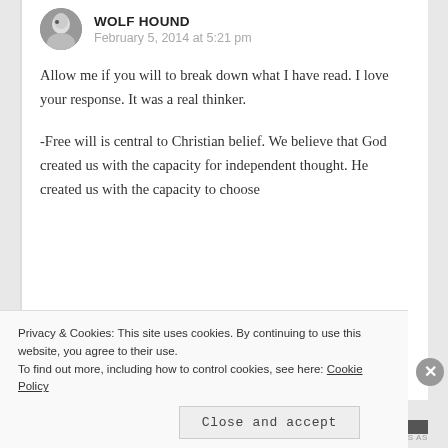WOLF HOUND
February 5, 2014 at 5:21 pm
Allow me if you will to break down what I have read. I love your response. It was a real thinker.
-Free will is central to Christian belief. We believe that God created us with the capacity for independent thought. He created us with the capacity to choose
Privacy & Cookies: This site uses cookies. By continuing to use this website, you agree to their use.
To find out more, including how to control cookies, see here: Cookie Policy
Close and accept